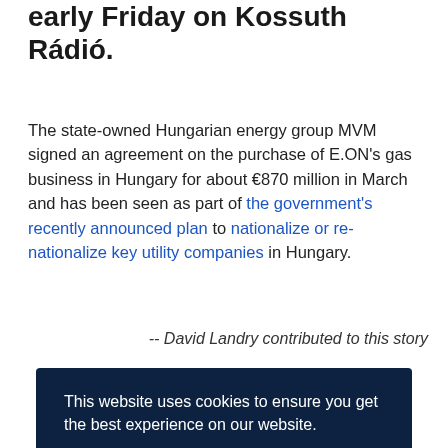early Friday on Kossuth Rádió.
The state-owned Hungarian energy group MVM signed an agreement on the purchase of E.ON's gas business in Hungary for about €870 million in March and has been seen as part of the government's recently announced plan to nationalize or re-nationalize key utility companies in Hungary.
-- David Landry contributed to this story
This website uses cookies to ensure you get the best experience on our website. Learn more